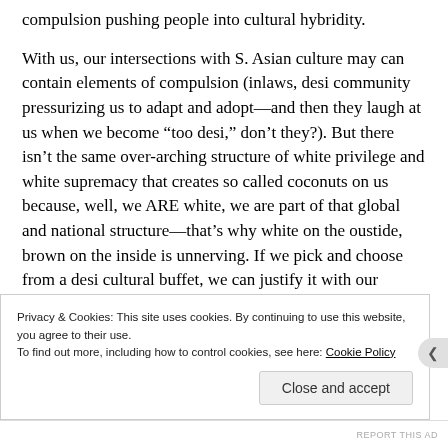compulsion pushing people into cultural hybridity.
With us, our intersections with S. Asian culture may can contain elements of compulsion (inlaws, desi community pressurizing us to adapt and adopt—and then they laugh at us when we become “too desi,” don’t they?). But there isn’t the same over-arching structure of white privilege and white supremacy that creates so called coconuts on us because, well, we ARE white, we are part of that global and national structure—that’s why white on the oustide, brown on the inside is unnerving. If we pick and choose from a desi cultural buffet, we can justify it with our whiteness. And if we turn our backs on it completely,
Privacy & Cookies: This site uses cookies. By continuing to use this website, you agree to their use.
To find out more, including how to control cookies, see here: Cookie Policy
Close and accept